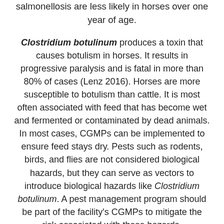salmonellosis are less likely in horses over one year of age.
Clostridium botulinum produces a toxin that causes botulism in horses. It results in progressive paralysis and is fatal in more than 80% of cases (Lenz 2016). Horses are more susceptible to botulism than cattle. It is most often associated with feed that has become wet and fermented or contaminated by dead animals. In most cases, CGMPs can be implemented to ensure feed stays dry. Pests such as rodents, birds, and flies are not considered biological hazards, but they can serve as vectors to introduce biological hazards like Clostridium botulinum. A pest management program should be part of the facility's CGMPs to mitigate the risk associated with these hazards.